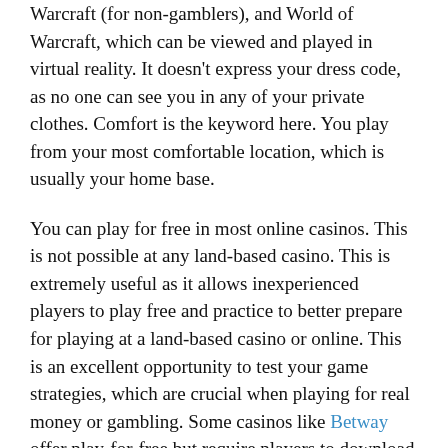Warcraft (for non-gamblers), and World of Warcraft, which can be viewed and played in virtual reality. It doesn't express your dress code, as no one can see you in any of your private clothes. Comfort is the keyword here. You play from your most comfortable location, which is usually your home base.
You can play for free in most online casinos. This is not possible at any land-based casino. This is extremely useful as it allows inexperienced players to play free and practice to better prepare for playing at a land-based casino or online. This is an excellent opportunity to test your game strategies, which are crucial when playing for real money or gambling. Some casinos like Betway offer play-for-free but require players to download software. Others allow players to play instantly online with software like JAVA.
There are many options for online casinos. The most popular platforms include Flash and download casinos.